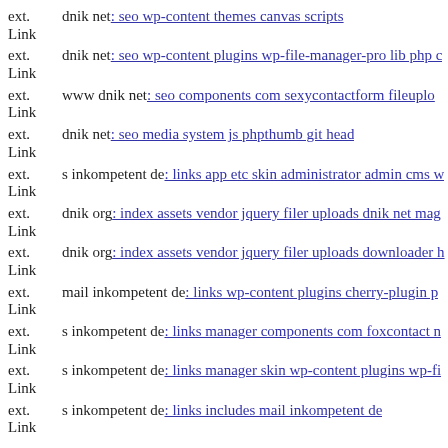ext. Link dnik net: seo wp-content themes canvas scripts
ext. Link dnik net: seo wp-content plugins wp-file-manager-pro lib php c
ext. Link www dnik net: seo components com sexycontactform fileuplo
ext. Link dnik net: seo media system js phpthumb git head
ext. Link s inkompetent de: links app etc skin administrator admin cms w
ext. Link dnik org: index assets vendor jquery filer uploads dnik net mag
ext. Link dnik org: index assets vendor jquery filer uploads downloader h
ext. Link mail inkompetent de: links wp-content plugins cherry-plugin p
ext. Link s inkompetent de: links manager components com foxcontact n
ext. Link s inkompetent de: links manager skin wp-content plugins wp-fi
ext. Link s inkompetent de: links includes mail inkompetent de